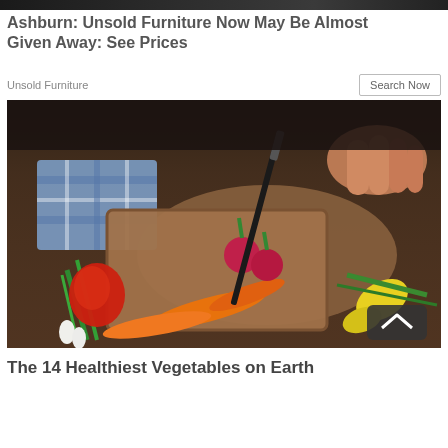[Figure (photo): Dark cropped top image showing kitchen/furniture context]
Ashburn: Unsold Furniture Now May Be Almost Given Away: See Prices
Unsold Furniture
Search Now
[Figure (photo): Person cutting vegetables on a wooden cutting board with various vegetables including carrots, radishes, red peppers, green onions, and yellow peppers scattered around]
The 14 Healthiest Vegetables on Earth